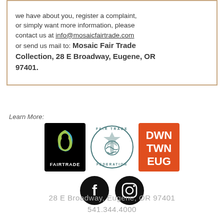we have about you, register a complaint, or simply want more information, please contact us at info@mosaicfairtrade.com or send us mail to: Mosaic Fair Trade Collection, 28 E Broadway, Eugene, OR 97401.
Learn More:
[Figure (logo): Three logos: Fairtrade logo (black background with blue and green swirl), Fair Trade Federation logo (circular seal), DWN TWN EUG logo (orange square with white text)]
[Figure (logo): Facebook and Instagram social media icons (black circles with white symbols)]
28 E Broadway, Eugene, OR 97401 541.344.4000